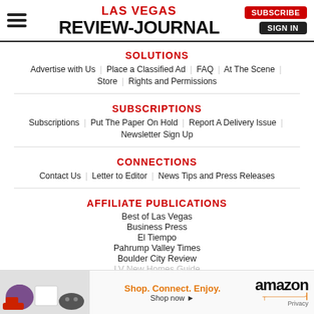Las Vegas Review-Journal
SOLUTIONS
Advertise with Us | Place a Classified Ad | FAQ | At The Scene
Store | Rights and Permissions
SUBSCRIPTIONS
Subscriptions | Put The Paper On Hold | Report A Delivery Issue
Newsletter Sign Up
CONNECTIONS
Contact Us | Letter to Editor | News Tips and Press Releases
AFFILIATE PUBLICATIONS
Best of Las Vegas
Business Press
El Tiempo
Pahrump Valley Times
Boulder City Review
[Figure (screenshot): Amazon advertisement banner with product images, 'Shop. Connect. Enjoy.' tagline and Shop now link, Amazon logo, and Privacy text]